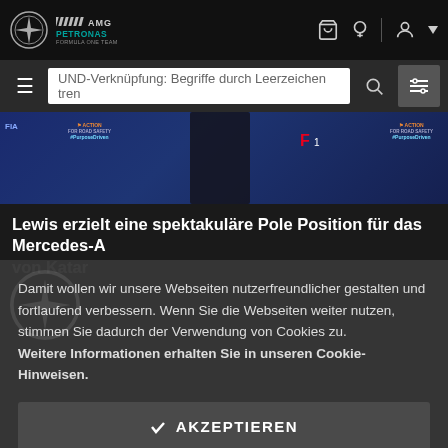Mercedes-AMG Petronas Formula One Team – website header with logo, cart, navigation icons, search bar
[Figure (photo): F1 press conference background with FIA Action for Road Safety and #PurposeDriven banners, a figure in dark clothing visible]
Lewis erzielt eine spektakuläre Pole Position für das Mercedes-A von Katar
Damit wollen wir unsere Webseiten nutzerfreundlicher gestalten und fortlaufend verbessern. Wenn Sie die Webseiten weiter nutzen, stimmen Sie dadurch der Verwendung von Cookies zu. Weitere Informationen erhalten Sie in unseren Cookie-Hinweisen.
✓ AKZEPTIEREN